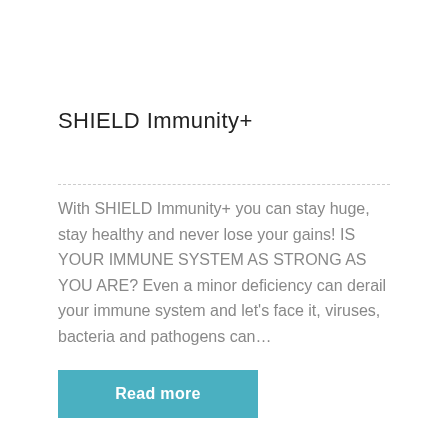SHIELD Immunity+
With SHIELD Immunity+ you can stay huge, stay healthy and never lose your gains! IS YOUR IMMUNE SYSTEM AS STRONG AS YOU ARE? Even a minor deficiency can derail your immune system and let’s face it, viruses, bacteria and pathogens can…
Read more